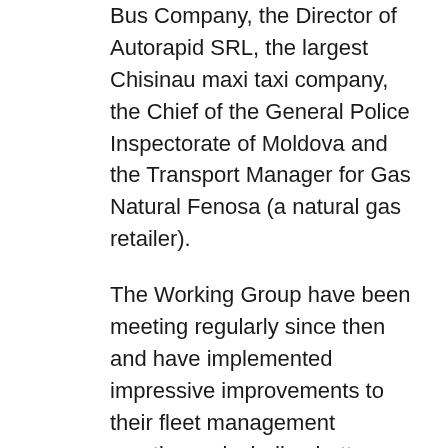Bus Company, the Director of Autorapid SRL, the largest Chisinau maxi taxi company, the Chief of the General Police Inspectorate of Moldova and the Transport Manager for Gas Natural Fenosa (a natural gas retailer).
The Working Group have been meeting regularly since then and have implemented impressive improvements to their fleet management practices – including better testing of drivers and vehicles, better communication, motivation and training, and safer forecourt design.
The reductions in public transport casualties have been mirrored, too, in the private fleet operated by Fenosa. Under the leadership of Liuba Popa, their Transport Manager extensive